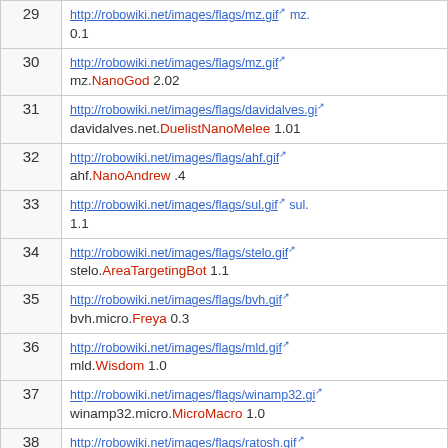| # | Robot |
| --- | --- |
| 29 | http://robowiki.net/images/flags/mz.gif [ext] mz.??? 0.1 |
| 30 | http://robowiki.net/images/flags/mz.gif [ext] mz.NanoGod 2.02 |
| 31 | http://robowiki.net/images/flags/davidalves.gi [ext] davidalves.net.DuelistNanoMelee 1.01 |
| 32 | http://robowiki.net/images/flags/ahf.gif [ext] ahf.NanoAndrew .4 |
| 33 | http://robowiki.net/images/flags/sul.gif [ext] sul.??? 1.1 |
| 34 | http://robowiki.net/images/flags/stelo.gif [ext] stelo.AreaTargetingBot 1.1 |
| 35 | http://robowiki.net/images/flags/bvh.gif [ext] bvh.micro.Freya 0.3 |
| 36 | http://robowiki.net/images/flags/mld.gif [ext] mld.Wisdom 1.0 |
| 37 | http://robowiki.net/images/flags/winamp32.gi [ext] winamp32.micro.MicroMacro 1.0 |
| 38 | http://robowiki.net/images/flags/ratosh.gif [ext] ratosh.Nobo 0.21 |
| 39 | http://robowiki.net/images/flags/stelo.gif [ext] stelo.SoRobotNanoMelee 1.? |